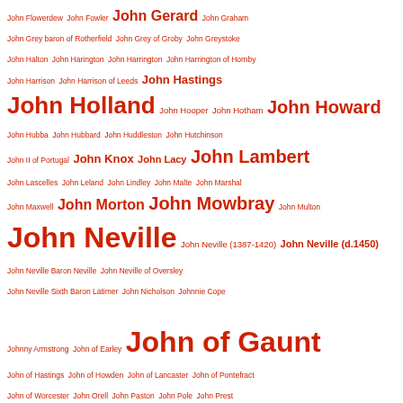John Flowerdew John Fowler John Gerard John Graham John Grey baron of Rotherfield John Grey of Groby John Greystoke John Halton John Harington John Harrington John Harrington of Hornby John Harrison John Harrison of Leeds John Hastings John Holland John Hooper John Hotham John Howard John Hubba John Hubbard John Huddleston John Hutchinson John II of Portugal John Knox John Lacy John Lambert John Lascelles John Leland John Lindley John Malte John Marshal John Maxwell John Morton John Mowbray John Multon John Neville John Neville (1387-1420) John Neville (d.1450) John Neville Baron Neville John Neville of Oversley John Neville Sixth Baron Latimer John Nicholson Johnnie Cope Johnny Armstrong John of Earley John of Gaunt John of Hastings John of Howden John of Lancaster John of Pontefract John of Worcester John Orell John Paston John Pole John Prest John Pym John Sheffield John Stafford John Stanley John St John John Stowe John Talbot John the Fearless